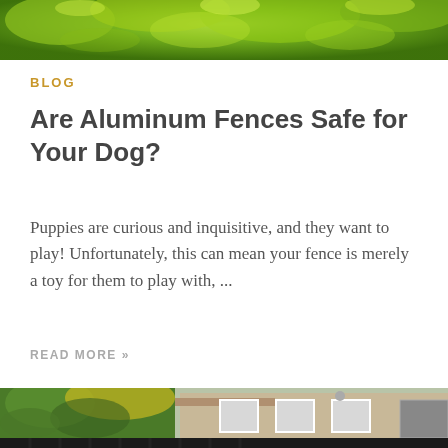[Figure (photo): Green foliage and tree canopy viewed from below, lush green leaves against bright light]
BLOG
Are Aluminum Fences Safe for Your Dog?
Puppies are curious and inquisitive, and they want to play! Unfortunately, this can mean your fence is merely a toy for them to play with, ...
READ MORE »
[Figure (photo): Exterior of a beige/tan stucco house with white-trimmed windows, palm trees and tropical foliage on the left, and a black aluminum fence in the foreground]